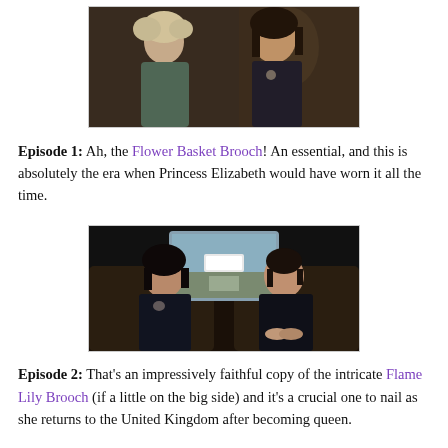[Figure (photo): Scene from a period drama showing two women in dark clothing at what appears to be a formal gathering or party. The woman on the left has light curly hair; the woman on the right has dark hair.]
Episode 1: Ah, the Flower Basket Brooch! An essential, and this is absolutely the era when Princess Elizabeth would have worn it all the time.
[Figure (photo): Scene from a period drama showing a man and a woman seated in the back of a car. Both are dressed in dark clothing. A road is visible through the rear window.]
Episode 2: That's an impressively faithful copy of the intricate Flame Lily Brooch (if a little on the big side) and it's a crucial one to nail as she returns to the United Kingdom after becoming queen.